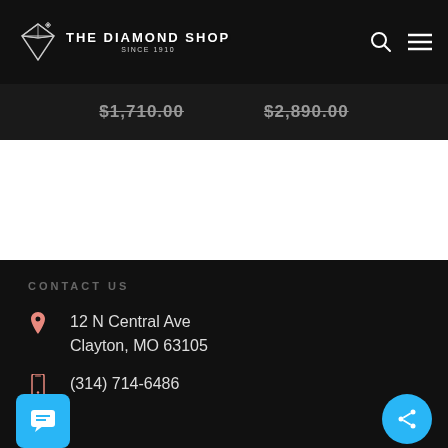[Figure (logo): The Diamond Shop logo with diamond icon and text 'THE DIAMOND SHOP SINCE 1910']
$1,710.00   $2,890.00
CONTACT US
12 N Central Ave
Clayton, MO 63105
(314) 714-6486